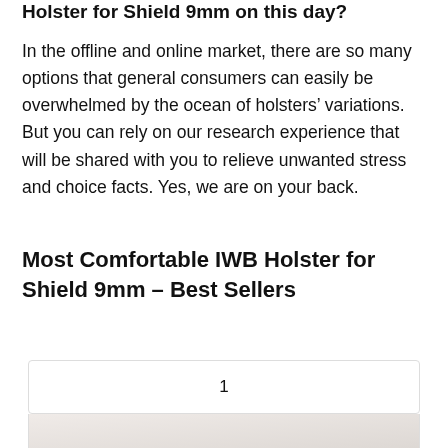Holster for Shield 9mm on this day?
In the offline and online market, there are so many options that general consumers can easily be overwhelmed by the ocean of holsters’ variations. But you can rely on our research experience that will be shared with you to relieve unwanted stress and choice facts. Yes, we are on your back.
Most Comfortable IWB Holster for Shield 9mm – Best Sellers
1
[Figure (photo): Partial image of a holster product at the bottom of the page]